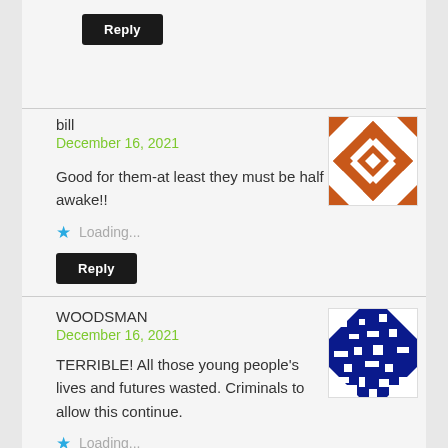Reply
bill
December 16, 2021
[Figure (illustration): Orange geometric quilt pattern avatar for user 'bill']
Good for them-at least they must be half awake!!
Loading...
Reply
WOODSMAN
December 16, 2021
[Figure (illustration): Blue and white pixel mosaic avatar for user 'WOODSMAN']
TERRIBLE! All those young people's lives and futures wasted. Criminals to allow this continue.
Loading...